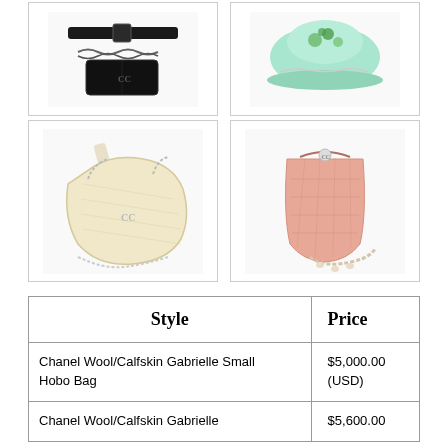[Figure (photo): Top row of two Chanel handbag product images: left shows a black belt bag with chain strap, right shows a mint/green cap-style item with embellishments.]
[Figure (photo): Bottom row of two Chanel handbag product images: left shows a cream/white tweed Gabrielle Hobo bag with chain straps, right shows a pink quilted bucket bag with pearl chain strap.]
| Style | Price |
| --- | --- |
| Chanel Wool/Calfskin Gabrielle Small Hobo Bag | $5,000.00 (USD) |
| Chanel Wool/Calfskin Gabrielle | $5,600.00 |